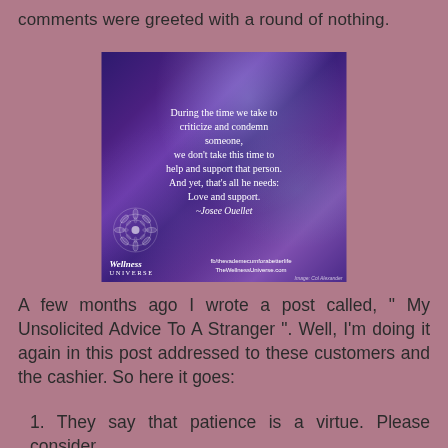comments were greeted with a round of nothing.
[Figure (illustration): A motivational quote image with a purple/violet mandala and space-like background. Quote reads: 'During the time we take to criticize and condemn someone, we don't take this time to help and support that person. And yet, that's all he needs: Love and support. ~Josee Ouellet'. Wellness Universe branding, fb/thevademecumforabetterlife, TheWellnessUniverse.com, Image: Col Alexander]
A few months ago I wrote a post called, " My Unsolicited Advice To A Stranger ".  Well, I'm doing it again in this post addressed to these customers and the cashier.  So here it goes:
1. They say that patience is a virtue.   Please consider